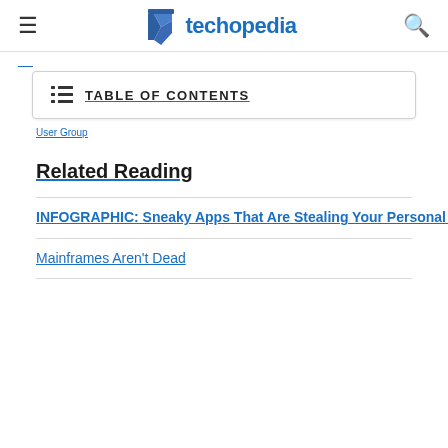techopedia
TABLE OF CONTENTS
User Group
Related Reading
INFOGRAPHIC: Sneaky Apps That Are Stealing Your Personal Information
Mainframes Aren't Dead